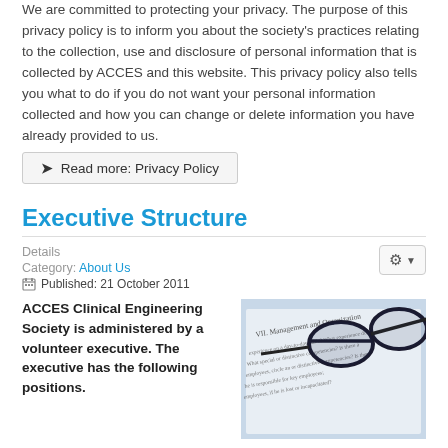We are committed to protecting your privacy. The purpose of this privacy policy is to inform you about the society's practices relating to the collection, use and disclosure of personal information that is collected by ACCES and this website. This privacy policy also tells you what to do if you do not want your personal information collected and how you can change or delete information you have already provided to us.
Read more: Privacy Policy
Executive Structure
Details
Category: About Us
Published: 21 October 2011
ACCES Clinical Engineering Society is administered by a volunteer executive. The executive has the following positions.
[Figure (photo): A photo of a document with glasses resting on it, showing text about Management and Organization]
Read more: Executive Structure